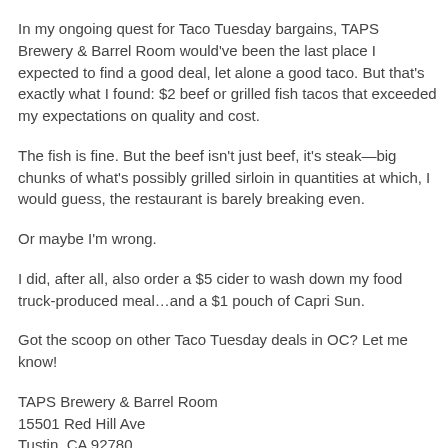In my ongoing quest for Taco Tuesday bargains, TAPS Brewery & Barrel Room would've been the last place I expected to find a good deal, let alone a good taco. But that's exactly what I found: $2 beef or grilled fish tacos that exceeded my expectations on quality and cost.
The fish is fine. But the beef isn't just beef, it's steak—big chunks of what's possibly grilled sirloin in quantities at which, I would guess, the restaurant is barely breaking even.
Or maybe I'm wrong.
I did, after all, also order a $5 cider to wash down my food truck-produced meal…and a $1 pouch of Capri Sun.
Got the scoop on other Taco Tuesday deals in OC? Let me know!
TAPS Brewery & Barrel Room
15501 Red Hill Ave
Tustin, CA 92780